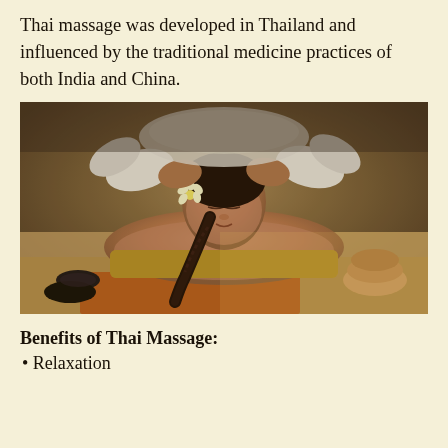Thai massage was developed in Thailand and influenced by the traditional medicine practices of both India and China.
[Figure (photo): A woman receiving a Thai massage, lying face-down on a massage table with a braided hair and a flower behind her ear, while a therapist in white performs the massage. Hot stones and rolled towels are visible in the foreground.]
Benefits of Thai Massage:
• Relaxation